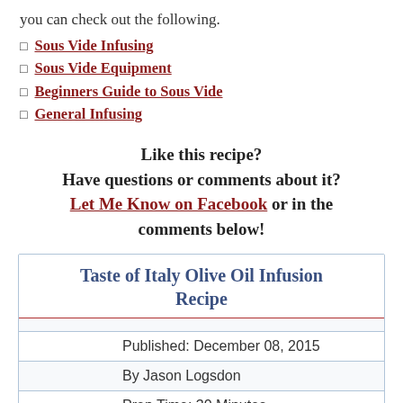you can check out the following.
Sous Vide Infusing
Sous Vide Equipment
Beginners Guide to Sous Vide
General Infusing
Like this recipe?
Have questions or comments about it?
Let Me Know on Facebook or in the comments below!
| Taste of Italy Olive Oil Infusion Recipe |
| --- |
| Published: December 08, 2015 |
| By Jason Logsdon |
| Prep Time: 30 Minutes |